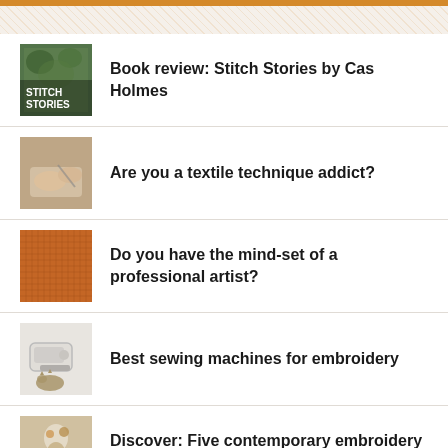Book review: Stitch Stories by Cas Holmes
Are you a textile technique addict?
Do you have the mind-set of a professional artist?
Best sewing machines for embroidery
Discover: Five contemporary embroidery artists